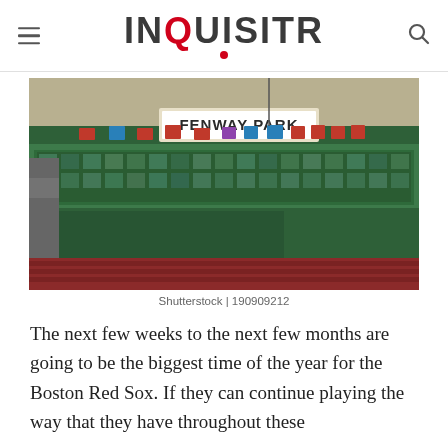INQUISITR
[Figure (photo): Exterior photograph of Fenway Park, showing the iconic green facade with the FENWAY PARK sign and retired number banners along the roofline. Red seats visible in the foreground.]
Shutterstock | 190909212
The next few weeks to the next few months are going to be the biggest time of the year for the Boston Red Sox. If they can continue playing the way that they have throughout these